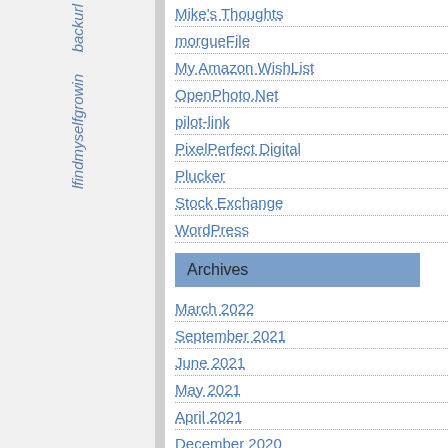backurl
lfindmyselfgrowin
Mike's Thoughts
morgueFile
My Amazon WishList
OpenPhoto.Net
pilot-link
PixelPerfect Digital
Plucker
Stock Exchange
WordPress
Archives
March 2022
September 2021
June 2021
May 2021
April 2021
December 2020
February 2019
September 2017
December 2016